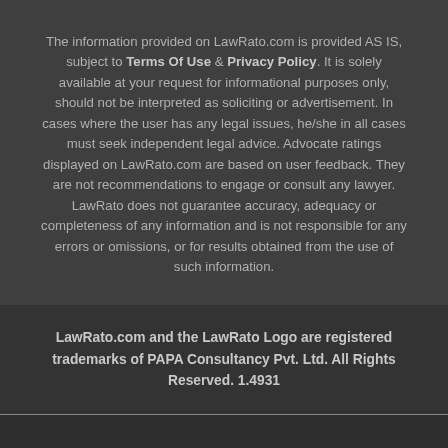The information provided on LawRato.com is provided AS IS, subject to Terms Of Use & Privacy Policy. It is solely available at your request for informational purposes only, should not be interpreted as soliciting or advertisement. In cases where the user has any legal issues, he/she in all cases must seek independent legal advice. Advocate ratings displayed on LawRato.com are based on user feedback. They are not recommendations to engage or consult any lawyer. LawRato does not guarantee accuracy, adequacy or completeness of any information and is not responsible for any errors or omissions, or for results obtained from the use of such information.
LawRato.com and the LawRato Logo are registered trademarks of PAPA Consultancy Pvt. Ltd. All Rights Reserved. 1.4931